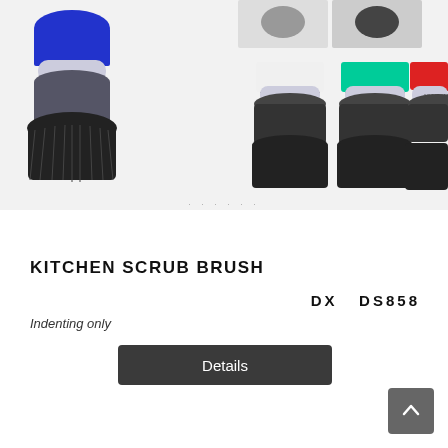[Figure (photo): Product photo showing kitchen scrub brushes (brand: ASTRON) in multiple colors: blue/grey, white/black, teal/black, red/black. One large brush on the left and three smaller ones arranged on the right, plus thumbnail images at top right.]
KITCHEN SCRUB BRUSH
DX  DS858
Indenting only
Details